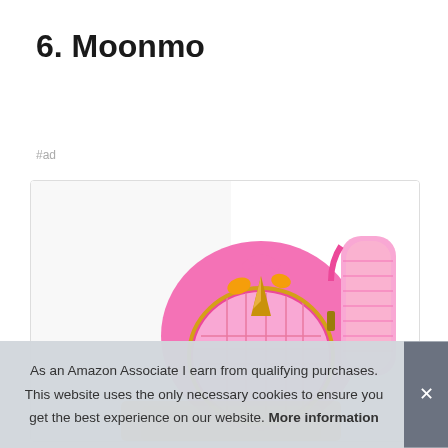6. Moonmo
#ad
[Figure (photo): Pink unicorn quilted children's backpack with gold horn detail and mesh shoulder straps]
As an Amazon Associate I earn from qualifying purchases. This website uses the only necessary cookies to ensure you get the best experience on our website. More information